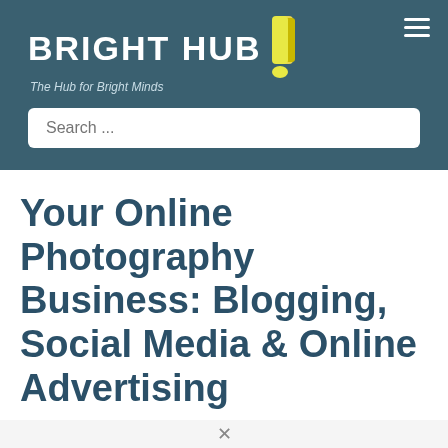[Figure (logo): Bright Hub logo with yellow exclamation mark icon and tagline 'The Hub for Bright Minds' on teal/dark blue background with hamburger menu icon]
Your Online Photography Business: Blogging, Social Media & Online Advertising
2013-12-11